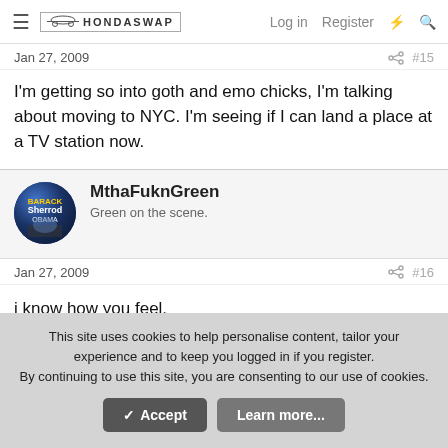≡ HONDASWAP  Log in  Register
Jan 27, 2009  #15
I'm getting so into goth and emo chicks, I'm talking about moving to NYC. I'm seeing if I can land a place at a TV station now.
MthaFuknGreen
Green on the scene.
Jan 27, 2009  #16
i know how you feel.
This site uses cookies to help personalise content, tailor your experience and to keep you logged in if you register.
By continuing to use this site, you are consenting to our use of cookies.
✓ Accept   Learn more...